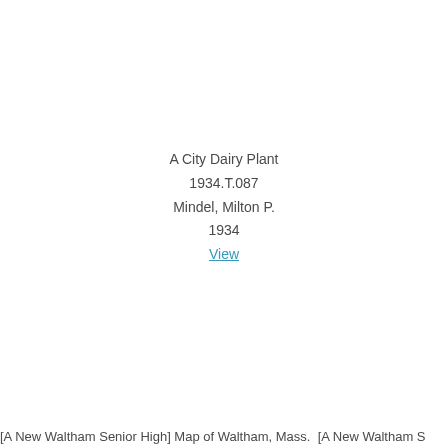A City Dairy Plant
1934.T.087
Mindel, Milton P.
1934
View
[A New Waltham Senior High] Map of Waltham, Mass.  [A New Waltham S